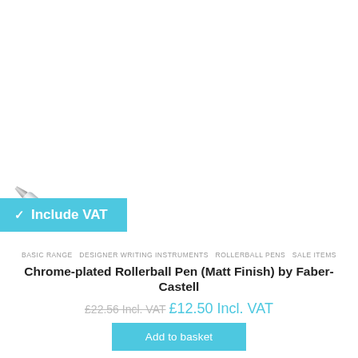[Figure (photo): A chrome-plated rollerball pen with black grip section, shown diagonally across the top portion of the page. The pen has a metallic silver barrel and a black rubber grip, photographed from above on a white background.]
✓ Include VAT
BASIC RANGE  DESIGNER WRITING INSTRUMENTS  ROLLERBALL PENS  SALE ITEMS
Chrome-plated Rollerball Pen (Matt Finish) by Faber-Castell
£22.56 Incl. VAT £12.50 Incl. VAT
Add to basket